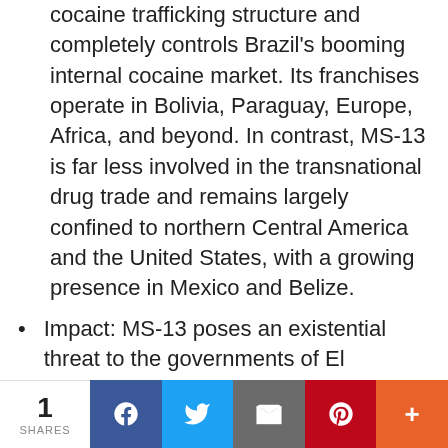cocaine trafficking structure and completely controls Brazil's booming internal cocaine market. Its franchises operate in Bolivia, Paraguay, Europe, Africa, and beyond. In contrast, MS-13 is far less involved in the transnational drug trade and remains largely confined to northern Central America and the United States, with a growing presence in Mexico and Belize.
Impact: MS-13 poses an existential threat to the governments of El Salvador and Honduras and more directly challenges the United States. The PCC is not yet at this stage. Available evidence indicates that the PCC has most successfully penetrated state and local governments and has yet to meaningfully leverage its power against
1 SHARES | Facebook | Twitter | Email | Pinterest | More